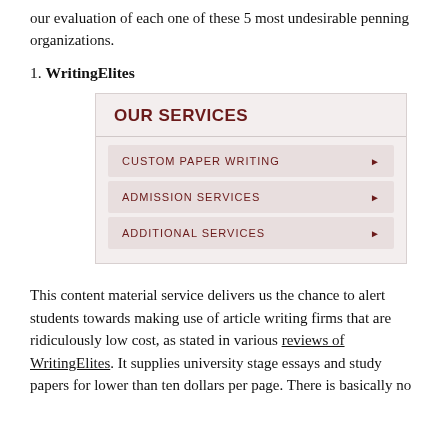our evaluation of each one of these 5 most undesirable penning organizations.
1. WritingElites
[Figure (screenshot): Screenshot of WritingElites website showing 'OUR SERVICES' section with three menu items: CUSTOM PAPER WRITING, ADMISSION SERVICES, ADDITIONAL SERVICES each with a right arrow]
This content material service delivers us the chance to alert students towards making use of article writing firms that are ridiculously low cost, as stated in various reviews of WritingElites. It supplies university stage essays and study papers for lower than ten dollars per page. There is basically no